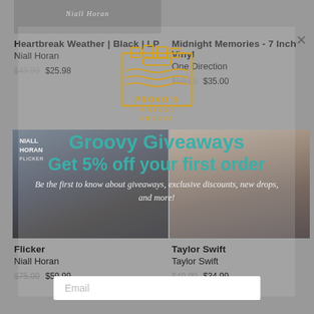[Figure (screenshot): Album art top left - Niall Horan cursive text on grey background]
Heartbreak Weather | Black | LP
Niall Horan
$49.99 $25.98
Midnight Memories - 7 Inch Vinyl
One Direction
$50.00 $35.00
[Figure (logo): Provo's Vintage Groove logo - golden outlined crate with record carrier illustration]
[Figure (photo): Niall Horan Flicker album art - close up photo of Niall Horan]
[Figure (photo): Taylor Swift self-titled album art - photo of Taylor Swift]
Groovy Giveaways
Get 5% off your first order
Be the first to know about giveaways, exclusive discounts, new drops, and more!
Flicker
Niall Horan
$75.00 $59.99
Taylor Swift
Taylor Swift
$49.99 $34.99
Email